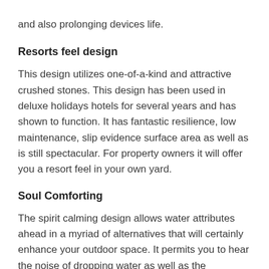and also prolonging devices life.
Resorts feel design
This design utilizes one-of-a-kind and attractive crushed stones. This design has been used in deluxe holidays hotels for several years and has shown to function. It has fantastic resilience, low maintenance, slip evidence surface area as well as is still spectacular. For property owners it will offer you a resort feel in your own yard.
Soul Comforting
The spirit calming design allows water attributes ahead in a myriad of alternatives that will certainly enhance your outdoor space. It permits you to hear the noise of dropping water as well as the magnificent aesthetic impact of